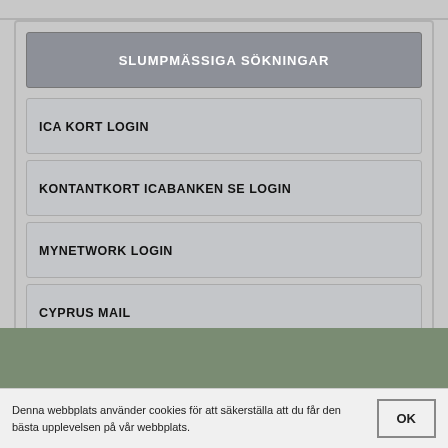SLUMPMÄSSIGA SÖKNINGAR
ICA KORT LOGIN
KONTANTKORT ICABANKEN SE LOGIN
MYNETWORK LOGIN
CYPRUS MAIL
Denna webbplats använder cookies för att säkerställa att du får den bästa upplevelsen på vår webbplats.